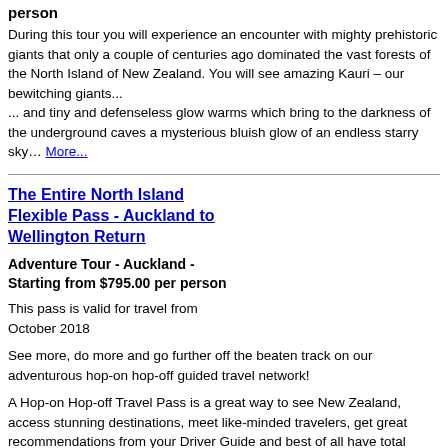person
During this tour you will experience an encounter with mighty prehistoric giants that only a couple of centuries ago dominated the vast forests of the North Island of New Zealand. You will see amazing Kauri – our bewitching giants... ... and tiny and defenseless glow warms which bring to the darkness of the underground caves a mysterious bluish glow of an endless starry sky… More...
The Entire North Island Flexible Pass - Auckland to Wellington Return
Adventure Tour - Auckland - Starting from $795.00 per person
This pass is valid for travel from October 2018
See more, do more and go further off the beaten track on our adventurous hop-on hop-off guided travel network!
A Hop-on Hop-off Travel Pass is a great way to see New Zealand, access stunning destinations, meet like-minded travelers, get great recommendations from your Driver Guide and best of all have total flexibility to hop-on or hop-off where ever you like along the route.